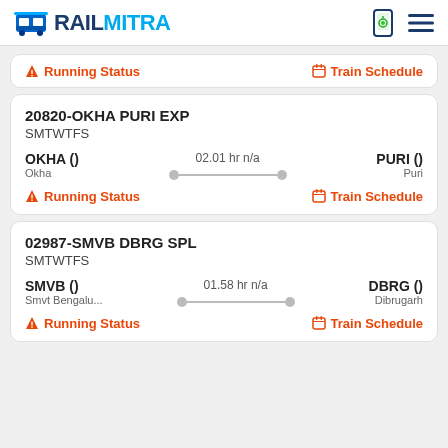RAILMITRA
Running Status | Train Schedule
20820-OKHA PURI EXP
SMTWTFS
OKHA ()  02.01 hr n/a  PURI ()
Okha  Puri
Running Status  Train Schedule
02987-SMVB DBRG SPL
SMTWTFS
SMVB ()  01.58 hr n/a  DBRG ()
Smvt Bengalu...  Dibrugarh
Running Status  Train Schedule